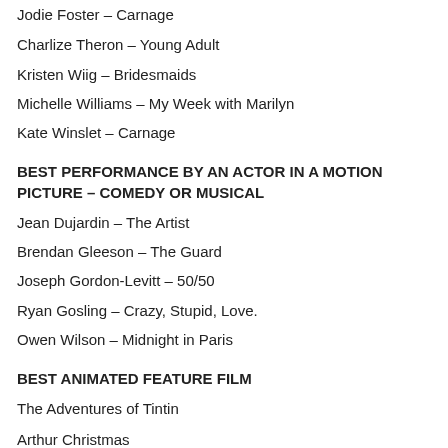Jodie Foster – Carnage
Charlize Theron – Young Adult
Kristen Wiig – Bridesmaids
Michelle Williams – My Week with Marilyn
Kate Winslet – Carnage
BEST PERFORMANCE BY AN ACTOR IN A MOTION PICTURE – COMEDY OR MUSICAL
Jean Dujardin – The Artist
Brendan Gleeson – The Guard
Joseph Gordon-Levitt – 50/50
Ryan Gosling – Crazy, Stupid, Love.
Owen Wilson – Midnight in Paris
BEST ANIMATED FEATURE FILM
The Adventures of Tintin
Arthur Christmas